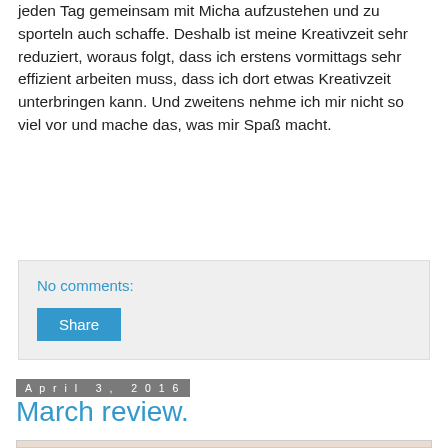jeden Tag gemeinsam mit Micha aufzustehen und zu sporteln auch schaffe. Deshalb ist meine Kreativzeit sehr reduziert, woraus folgt, dass ich erstens vormittags sehr effizient arbeiten muss, dass ich dort etwas Kreativzeit unterbringen kann. Und zweitens nehme ich mir nicht so viel vor und mache das, was mir Spaß macht.
No comments:
Share
April 3, 2016
March review.
[Figure (photo): Open notebook/journal showing two pages: left page titled MEALS with handwritten meal list, right page titled GOALS with handwritten goals list including items about care for Theo, journal study, knitting and crochet supplies, Cocoa Daisy challenges, and other goals. Decorative washi tape visible at top right.]